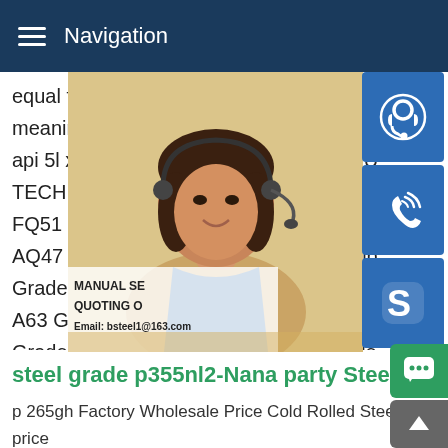Navigation
equal to cr12mo1v1 chemical composition meaning 13 crmo 44v 16crmo3 material e api 5l x60 pipe12345NextSTEEL PRODU TECHNOLOGYGrade AQ56 Grade DQ56 FQ51 Grade AQ51 Grade DQ51 Grade E AQ47 Grade DQ47 Grade EH40 KR,Ship Grade F70 Grade A70 Grade D70 Grade B A63 Grade D63 Grade E56 Grade F56 Gr Grade E51 Grade FQ1 Grade A51 Grade F47 Grade A47 Grade D47
[Figure (photo): Customer service representative woman with headset, with blue icon buttons for phone/call, Skype, and online support. Text overlay: MANUAL SE... QUOTING O... Email: bsteel1@163.com]
steel grade p355nl2-Nana party Steel
p 265gh Factory Wholesale Price Cold Rolled Steel Coil price grade 0 5mm thick stainless coil w6x12 america in supplying EN10028-2 steel plate in grade P355NL2.P355NL2,EN10028- Grade P355NL2,P355 NL2 STEEL PLATE P460NH,P460NH s